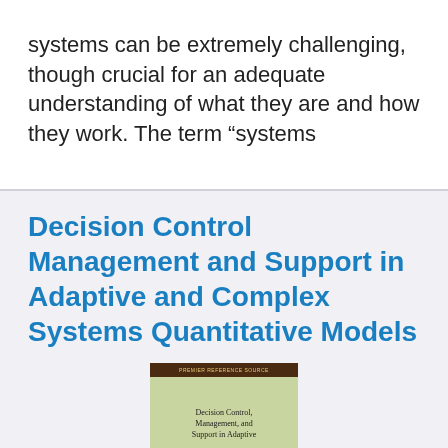systems can be extremely challenging, though crucial for an adequate understanding of what they are and how they work. The term “systems
Decision Control Management and Support in Adaptive and Complex Systems Quantitative Models
[Figure (illustration): Book cover for 'Decision Control, Management, and Support in Adaptive' showing a Premier Reference Source label on top in dark brown, with olive/green background and the book title text.]